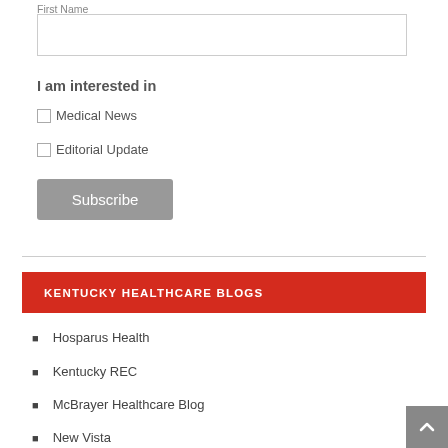First Name
I am interested in
Medical News
Editorial Update
Subscribe
KENTUCKY HEALTHCARE BLOGS
Hosparus Health
Kentucky REC
McBrayer Healthcare Blog
New Vista
Stites & Harbison